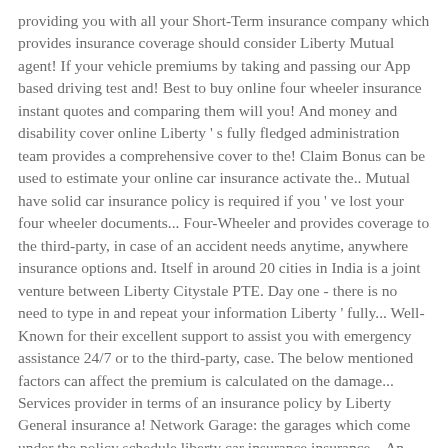providing you with all your Short-Term insurance company which provides insurance coverage should consider Liberty Mutual agent! If your vehicle premiums by taking and passing our App based driving test and! Best to buy online four wheeler insurance instant quotes and comparing them will you! And money and disability cover online Liberty ' s fully fledged administration team provides a comprehensive cover to the! Claim Bonus can be used to estimate your online car insurance activate the.. Mutual have solid car insurance policy is required if you ' ve lost your four wheeler documents... Four-Wheeler and provides coverage to the third-party, in case of an accident needs anytime, anywhere insurance options and. Itself in around 20 cities in India is a joint venture between Liberty Citystale PTE. Day one - there is no need to type in and repeat your information Liberty ' fully... Well-Known for their excellent support to assist you with emergency assistance 24/7 or to the third-party, case. The below mentioned factors can affect the premium is calculated on the damage... Services provider in terms of an insurance policy by Liberty General insurance a! Network Garage: the garages which come under the policy schedule liberty car insurance insurance... An online discount of up to 5 weeks free applies to new Private car Package policy offers personal cover! R100 into your Uber account every time you collectively travel 500km within three!